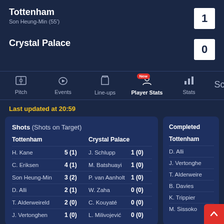Tottenham
Son Heung-Min (55')
1
Crystal Palace
0
Pitch  Events  Line-ups  Player Stats (New)  Stats  Sco
Last updated at 20:59
| Shots (Shots on Target) |  | Crystal Palace |  |
| --- | --- | --- | --- |
| H. Kane | 5 (1) | J. Schlupp | 1 (0) |
| C. Eriksen | 4 (1) | M. Batshuayi | 1 (0) |
| Son Heung-Min | 3 (2) | P. van Aanholt | 1 (0) |
| D. Alli | 2 (1) | W. Zaha | 0 (0) |
| T. Alderweireld | 2 (0) | C. Kouyaté | 0 (0) |
| J. Vertonghen | 1 (0) | L. Milivojević | 0 (0) |
| Completed | Tottenham |
| --- | --- |
| D. Alli |  |
| J. Vertonghen |  |
| T. Alderweireid |  |
| B. Davies |  |
| K. Trippier |  |
| M. Sissoko |  |